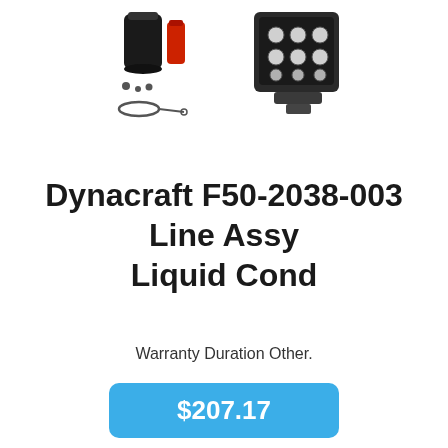[Figure (photo): Two product images: left shows a filter/service kit with parts including a black filter canister, red cylindrical part, small components, and a ring; right shows a square LED work light with multiple LED elements in a black housing.]
Dynacraft F50-2038-003 Line Assy Liquid Cond
Warranty Duration Other.
$207.17